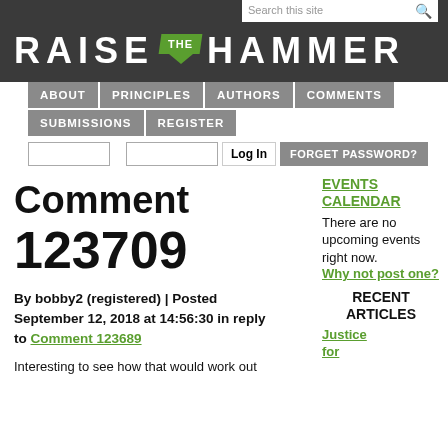RAISE THE HAMMER
ABOUT | PRINCIPLES | AUTHORS | COMMENTS | SUBMISSIONS | REGISTER
Comment
123709
By bobby2 (registered) | Posted September 12, 2018 at 14:56:30 in reply to Comment 123689
Interesting to see how that would work out
EVENTS CALENDAR
There are no upcoming events right now. Why not post one?
RECENT ARTICLES
Justice for